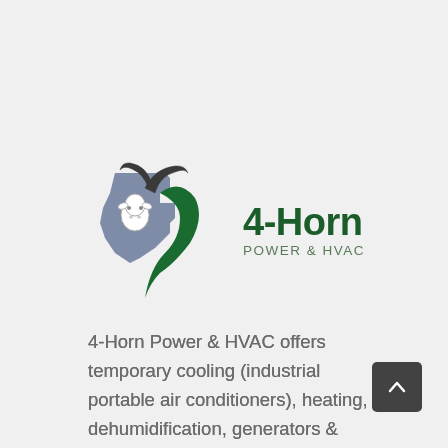[Figure (logo): 4-Horn Power & HVAC logo featuring a stylized Texas state shape in slate blue/grey with a white goat head outline, alongside a green curved shape, and the text '4-Horn' in large dark green bold font with 'POWER & HVAC' beneath in smaller grey-green letters.]
4-Horn Power & HVAC offers temporary cooling (industrial portable air conditioners), heating, dehumidification, generators & power distribution, portable cooling towers, air & water-chilled towers, and heat exchangers.